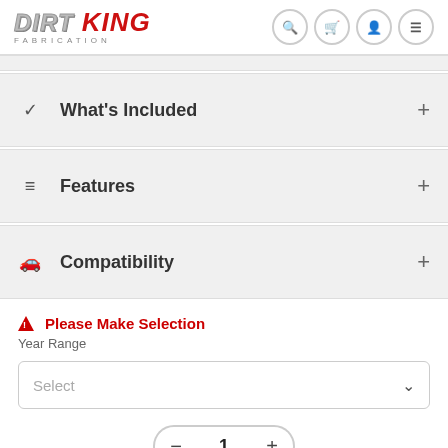[Figure (logo): Dirt King Fabrication logo with stylized text]
What's Included
Features
Compatibility
Please Make Selection
Year Range
Select
1
$5,595.00